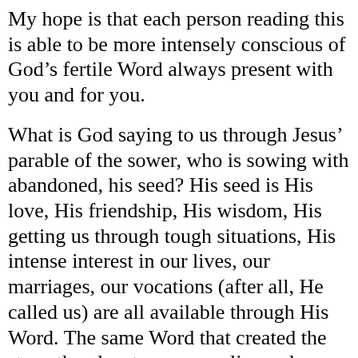My hope is that each person reading this is able to be more intensely conscious of God’s fertile Word always present with you and for you.
What is God saying to us through Jesus’ parable of the sower, who is sowing with abandoned, his seed? His seed is His love, His friendship, His wisdom, His getting us through tough situations, His intense interest in our lives, our marriages, our vocations (after all, He called us) are all available through His Word. The same Word that created the stars, the planets, our own lives, always available! “So shall my word be that goes forth from my mouth; my word shall not return to me void but